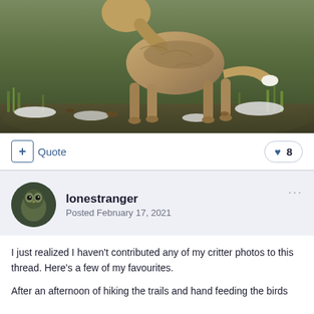[Figure (photo): A coyote or similar canid walking across grassy ground with patches of snow. The animal is shown from the side, with brown/tan fur. Green grass and bare earth visible in background.]
+ Quote
❤ 8
lonestranger
Posted February 17, 2021
I just realized I haven't contributed any of my critter photos to this thread. Here's a few of my favourites.
After an afternoon of hiking the trails and hand feeding the birds